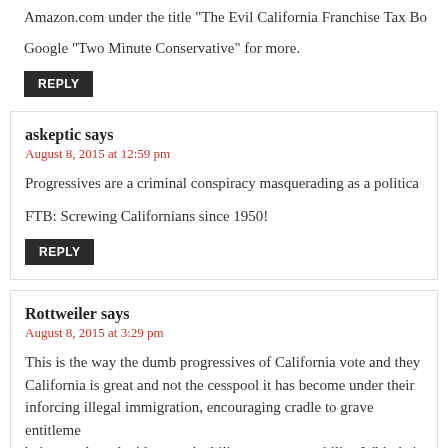Amazon.com under the title “The Evil California Franchise Tax Bo…
Google “Two Minute Conservative” for more.
REPLY
askeptic says
August 8, 2015 at 12:59 pm
Progressives are a criminal conspiracy masquerading as a politica…
FTB: Screwing Californians since 1950!
REPLY
Rottweiler says
August 8, 2015 at 3:29 pm
This is the way the dumb progressives of California vote and they… California is great and not the cesspool it has become under their… inforcing illegal immigration, encouraging cradle to grave entitleme… being re-elected with not culpability nor accountability. With their d… laden light bulbs (which goes into our landfills on account of their c… dream trains to no where utilization only 11%, and providing water…